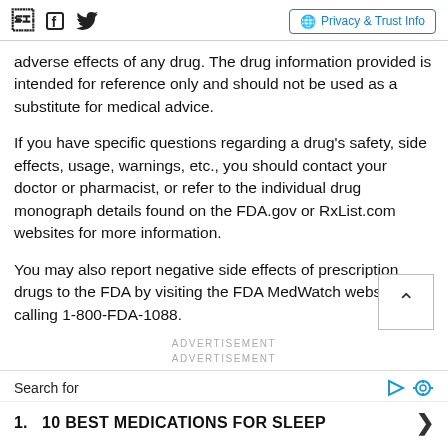Facebook Twitter | Privacy & Trust Info
adverse effects of any drug. The drug information provided is intended for reference only and should not be used as a substitute for medical advice.
If you have specific questions regarding a drug’s safety, side effects, usage, warnings, etc., you should contact your doctor or pharmacist, or refer to the individual drug monograph details found on the FDA.gov or RxList.com websites for more information.
You may also report negative side effects of prescription drugs to the FDA by visiting the FDA MedWatch website or calling 1-800-FDA-1088.
ADVERTISEMENT
ADVERTISEMENT
Search for
1. 10 BEST MEDICATIONS FOR SLEEP